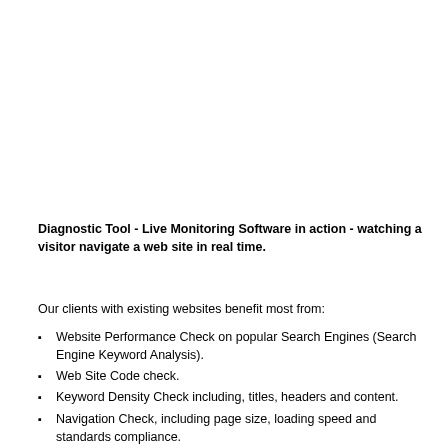Diagnostic Tool - Live Monitoring Software in action - watching a visitor navigate a web site in real time.
Our clients with existing websites benefit most from:
Website Performance Check on popular Search Engines (Search Engine Keyword Analysis).
Web Site Code check.
Keyword Density Check including, titles, headers and content.
Navigation Check, including page size, loading speed and standards compliance.
Site Relevance Check, compared with your website objectives.
Full time detailed Web Monitoring Service for a period to view visitor numbers and actions.